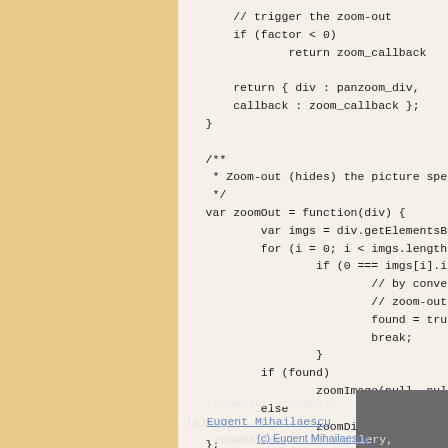Code snippet showing JavaScript zoom functions including zoomOut and return statements
(c) Copyright Mihai Bazon